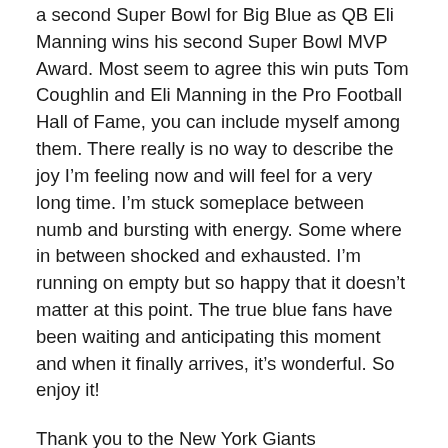a second Super Bowl for Big Blue as QB Eli Manning wins his second Super Bowl MVP Award. Most seem to agree this win puts Tom Coughlin and Eli Manning in the Pro Football Hall of Fame, you can include myself among them. There really is no way to describe the joy I’m feeling now and will feel for a very long time. I’m stuck someplace between numb and bursting with energy. Some where in between shocked and exhausted. I’m running on empty but so happy that it doesn’t matter at this point. The true blue fans have been waiting and anticipating this moment and when it finally arrives, it’s wonderful. So enjoy it!
Thank you to the New York Giants organization including the Mara and Tisch families. Thank you to Head Coach Tom Coughlin, the rest of the coaches and players. Thank you GM Jerry Reese, who has done an outstanding job, since taking over for Giants legend Ernie Accorsi. Go back